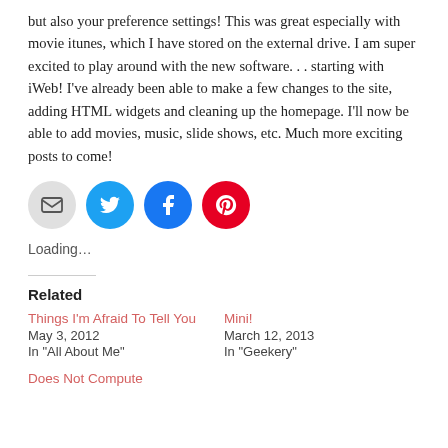but also your preference settings! This was great especially with movie itunes, which I have stored on the external drive. I am super excited to play around with the new software... starting with iWeb! I've already been able to make a few changes to the site, adding HTML widgets and cleaning up the homepage. I'll now be able to add movies, music, slide shows, etc. Much more exciting posts to come!
[Figure (infographic): Four social sharing icon buttons: email (grey circle), Twitter (blue circle with bird), Facebook (blue circle with f), Pinterest (red circle with P)]
Loading...
Related
Things I'm Afraid To Tell You
May 3, 2012
In "All About Me"
Mini!
March 12, 2013
In "Geekery"
Does Not Compute